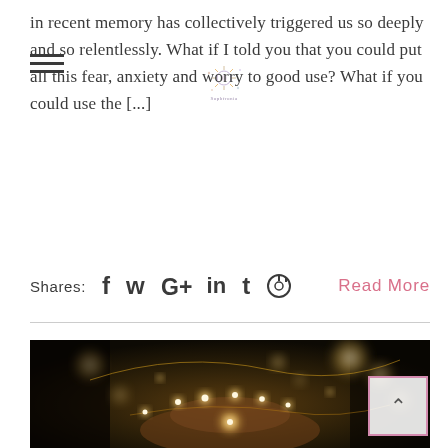in recent memory has collectively triggered us so deeply and so relentlessly. What if I told you that you could put all this fear, anxiety and worry to good use? What if you could use the [...]
[Figure (logo): Small decorative starburst/fireworks logo in center top area]
Shares:  f  y  G+  in  t  ⊕    Read More
[Figure (photo): Dark atmospheric photo of a person's hands holding glowing fairy lights, with bokeh light effects in the background]